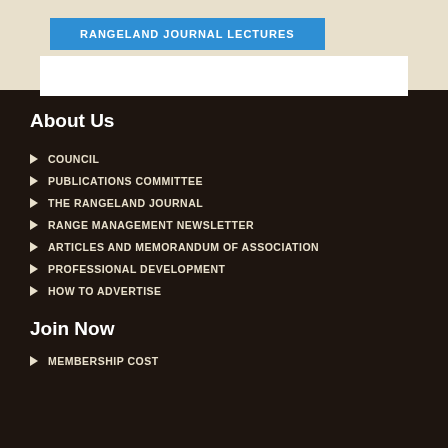[Figure (other): Blue button with text RANGELAND JOURNAL LECTURES on a cream/beige background with white box below]
About Us
COUNCIL
PUBLICATIONS COMMITTEE
THE RANGELAND JOURNAL
RANGE MANAGEMENT NEWSLETTER
ARTICLES AND MEMORANDUM OF ASSOCIATION
PROFESSIONAL DEVELOPMENT
HOW TO ADVERTISE
Join Now
MEMBERSHIP COST